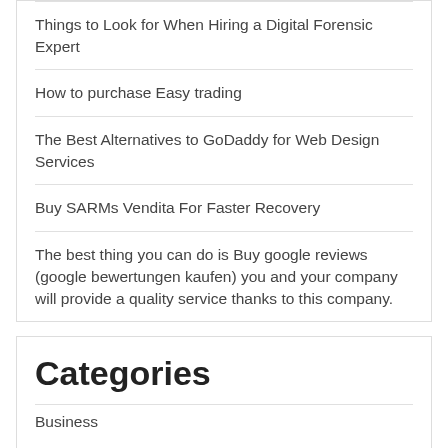Things to Look for When Hiring a Digital Forensic Expert
How to purchase Easy trading
The Best Alternatives to GoDaddy for Web Design Services
Buy SARMs Vendita For Faster Recovery
The best thing you can do is Buy google reviews (google bewertungen kaufen) you and your company will provide a quality service thanks to this company.
Categories
Business